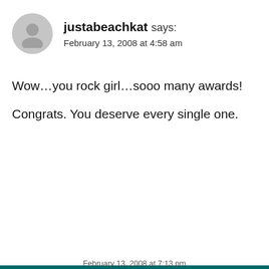justabeachkat says:
February 13, 2008 at 4:58 am
Wow…you rock girl…sooo many awards!
Congrats. You deserve every single one.
This website uses cookies to ensure you get the best experience on our website.
Learn more
Decline
Accept
February 13, 2008 at 7:13 pm